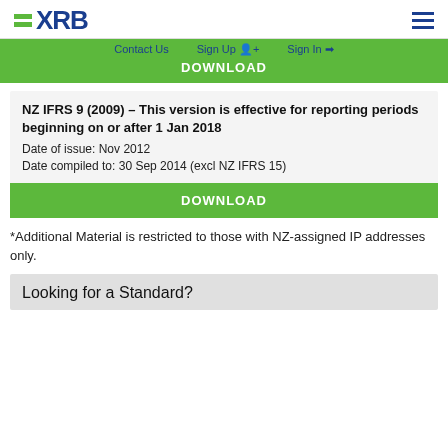XRB
Contact Us   Sign Up   Sign In
DOWNLOAD
NZ IFRS 9 (2009) – This version is effective for reporting periods beginning on or after 1 Jan 2018
Date of issue: Nov 2012
Date compiled to: 30 Sep 2014 (excl NZ IFRS 15)
DOWNLOAD
*Additional Material is restricted to those with NZ-assigned IP addresses only.
Looking for a Standard?